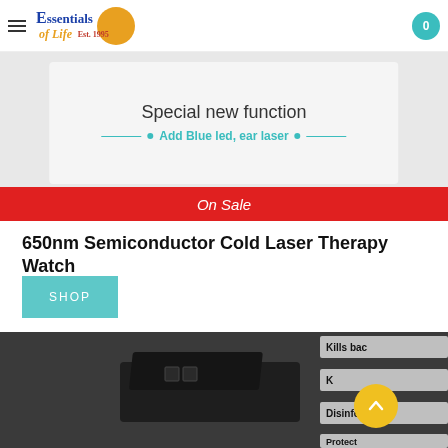Essentials of Life Est. 1995
[Figure (photo): Product promotional banner showing 'Special new function' and 'Add Blue led, ear laser' text on light grey background]
On Sale
650nm Semiconductor Cold Laser Therapy Watch
Shop
[Figure (photo): Dark colored laser therapy device/watch with feature labels: Kills bacteria, K... (partially visible), Disinfect, Protect]